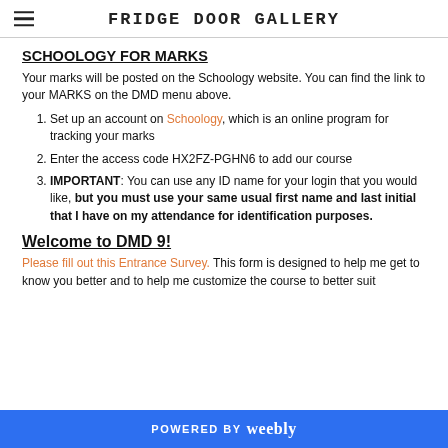FRIDGE DOOR GALLERY
SCHOOLOGY FOR MARKS
Your marks will be posted on the Schoology website. You can find the link to your MARKS on the DMD menu above.
Set up an account on Schoology, which is an online program for tracking your marks
Enter the access code HX2FZ-PGHN6 to add our course
IMPORTANT: You can use any ID name for your login that you would like, but you must use your same usual first name and last initial that I have on my attendance for identification purposes.
Welcome to DMD 9!
Please fill out this Entrance Survey. This form is designed to help me get to know you better and to help me customize the course to better suit
POWERED BY weebly